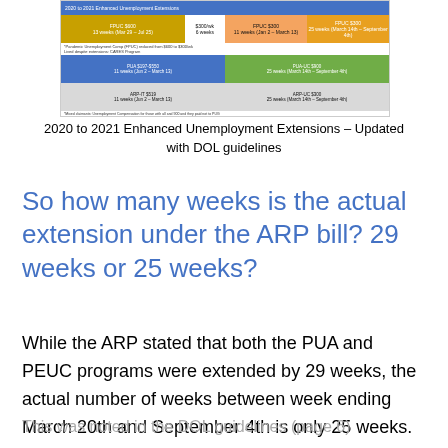[Figure (screenshot): Screenshot of a table titled '2020 to 2021 Enhanced Unemployment Extensions' showing FPUC, PUA, PEUC, ARP extensions with weeks and date ranges under DOL guidelines]
2020 to 2021 Enhanced Unemployment Extensions – Updated with DOL guidelines
So how many weeks is the actual extension under the ARP bill? 29 weeks or 25 weeks?
While the ARP stated that both the PUA and PEUC programs were extended by 29 weeks, the actual number of weeks between week ending March 20th and September 4th is only 25 weeks.
This was noted in the DOL guidelines (page 6)